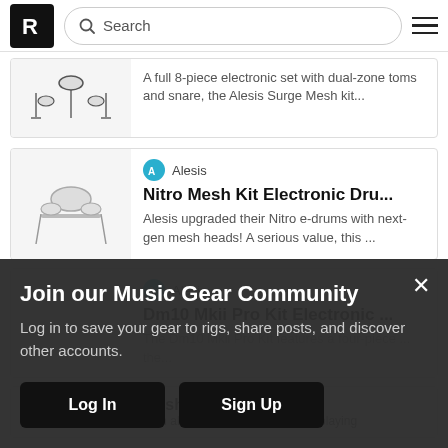Search
[Figure (photo): Electronic drum kit product image]
A full 8-piece electronic set with dual-zone toms and snare, the Alesis Surge Mesh kit...
[Figure (photo): Alesis brand icon]
Nitro Mesh Kit Electronic Dru...
Alesis upgraded their Nitro e-drums with next-gen mesh heads! A serious value, this ...
[Figure (photo): Alesis brand icon]
Dm10 Mkii Pro Kit Electronic ...
The Dm10 Mkii Pro Kit features a four-piece ... the...
Mesh Electronic D...
With all-mesh heads for superior playing
Join our Music Gear Community
Log in to save your gear to rigs, share posts, and discover other accounts.
Log In
Sign Up